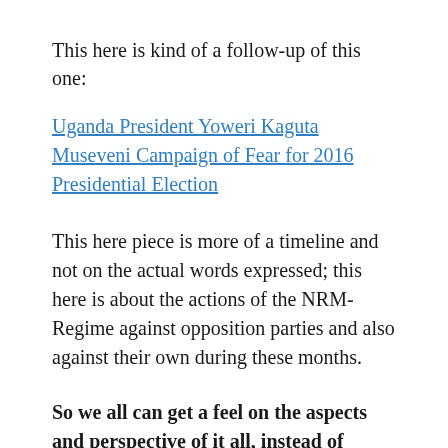This here is kind of a follow-up of this one:
Uganda President Yoweri Kaguta Museveni Campaign of Fear for 2016 Presidential Election
This here piece is more of a timeline and not on the actual words expressed; this here is about the actions of the NRM-Regime against opposition parties and also against their own during these months.
So we all can get a feel on the aspects and perspective of it all, instead of following the campaign trails, instead of thinking and analyzing the events and acts of the people